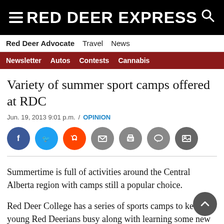RED DEER EXPRESS
Red Deer Advocate  Travel  News
Newsletter  Autos  Contests  Cannabis
Variety of summer sport camps offered at RDC
Jun. 19, 2013 9:01 p.m.  /  OPINION
[Figure (other): Social sharing icons: Facebook, Twitter, Reddit, Email, Print, Comment, Gallery]
Summertime is full of activities around the Central Alberta region with camps still a popular choice.
Red Deer College has a series of sports camps to keep young Red Deerians busy along with learning some new